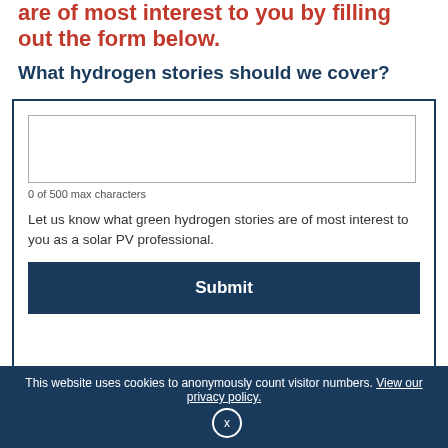are of most interest to you by filling out the form below.
What hydrogen stories should we cover?
[Figure (screenshot): Web form with a text area input (empty), character count '0 of 500 max characters', helper text, and a Submit button]
0 of 500 max characters
Let us know what green hydrogen stories are of most interest to you as a solar PV professional.
This website uses cookies to anonymously count visitor numbers. View our privacy policy.